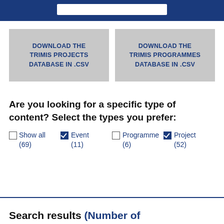DOWNLOAD THE TRIMIS PROJECTS DATABASE IN .CSV
DOWNLOAD THE TRIMIS PROGRAMMES DATABASE IN .CSV
Are you looking for a specific type of content? Select the types you prefer:
Show all (69)
Event (11)
Programme (6)
Project (52)
Search results (Number of